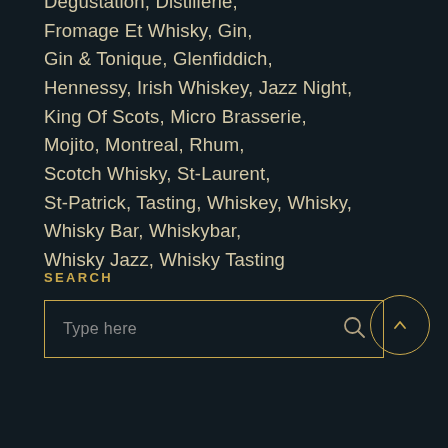Dégustation, Distillerie, Fromage Et Whisky, Gin, Gin & Tonique, Glenfiddich, Hennessy, Irish Whiskey, Jazz Night, King Of Scots, Micro Brasserie, Mojito, Montreal, Rhum, Scotch Whisky, St-Laurent, St-Patrick, Tasting, Whiskey, Whisky, Whisky Bar, Whiskybar, Whisky Jazz, Whisky Tasting
SEARCH
Type here